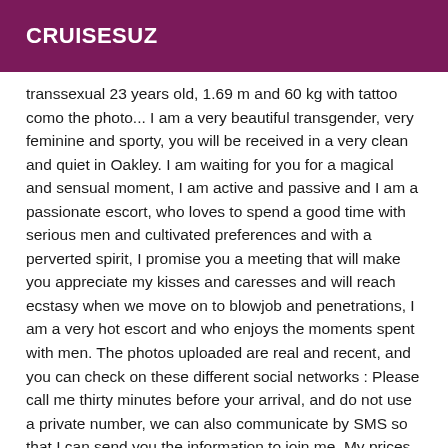CRUISESUZ
transsexual 23 years old, 1.69 m and 60 kg with tattoo como the photo... I am a very beautiful transgender, very feminine and sporty, you will be received in a very clean and quiet in Oakley. I am waiting for you for a magical and sensual moment, I am active and passive and I am a passionate escort, who loves to spend a good time with serious men and cultivated preferences and with a perverted spirit, I promise you a meeting that will make you appreciate my kisses and caresses and will reach ecstasy when we move on to blowjob and penetrations, I am a very hot escort and who enjoys the moments spent with men. The photos uploaded are real and recent, and you can check on these different social networks : Please call me thirty minutes before your arrival, and do not use a private number, we can also communicate by SMS so that I can send you the information to join me. My prices are non-negotiable but I promise you a serious and respectful meeting with your